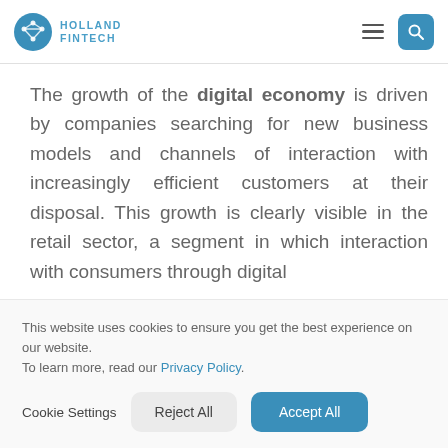[Figure (logo): Holland Fintech logo with circular icon and text]
The growth of the digital economy is driven by companies searching for new business models and channels of interaction with increasingly efficient customers at their disposal. This growth is clearly visible in the retail sector, a segment in which interaction with consumers through digital
This website uses cookies to ensure you get the best experience on our website. To learn more, read our Privacy Policy.
Cookie Settings   Reject All   Accept All